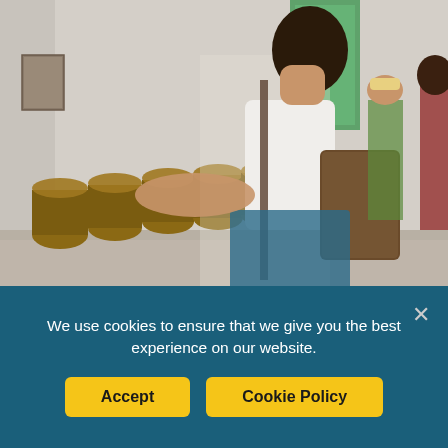[Figure (photo): People standing along a row of traditional African drums (djembes) in an indoor space with white walls, a green-framed window/door, and a decorative tile floor. A young woman in a white t-shirt with a patterned bag is prominently reaching toward the drums. Other visitors and a guide are visible in the background.]
We use cookies to ensure that we give you the best experience on our website.
Accept
Cookie Policy